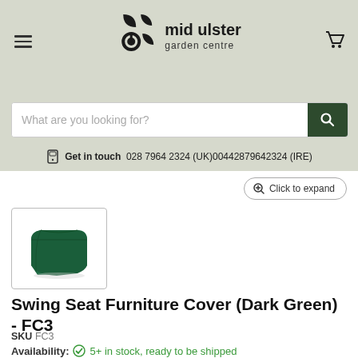mid ulster garden centre
What are you looking for?
Get in touch  028 7964 2324 (UK)00442879642324 (IRE)
Click to expand
[Figure (photo): Thumbnail image of a dark green swing seat furniture cover, rectangular shape with draped fabric.]
Swing Seat Furniture Cover (Dark Green) - FC3
SKU FC3
Availability: 5+ in stock, ready to be shipped